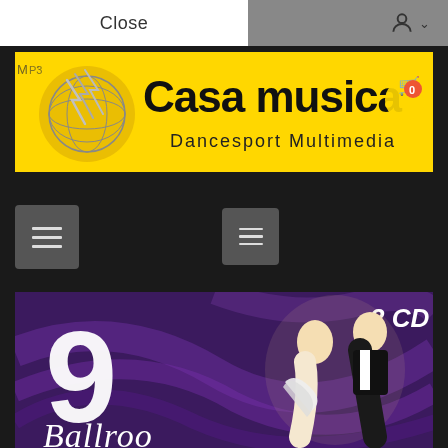[Figure (screenshot): Top navigation bar with Close button on white background and user icon on grey background]
[Figure (logo): Casa musica Dancesport Multimedia yellow banner with globe logo]
[Figure (screenshot): Dark navigation area with two hamburger menu buttons]
[Figure (photo): 2 CD album cover showing '9 Ballroom' with a dancing couple on purple background]